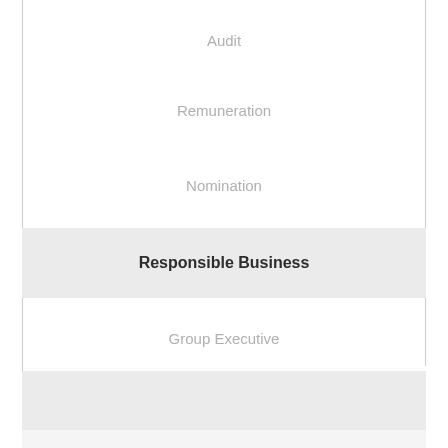Audit
Remuneration
Nomination
Responsible Business
Group Executive
Secretary